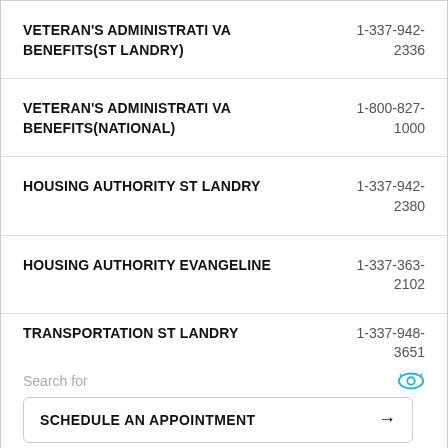VETERAN'S ADMINISTRATI VA BENEFITS(ST LANDRY)	1-337-942-2336
VETERAN'S ADMINISTRATI VA BENEFITS(NATIONAL)	1-800-827-1000
HOUSING AUTHORITY ST LANDRY	1-337-942-2380
HOUSING AUTHORITY EVANGELINE	1-337-363-2102
TRANSPORTATION ST LANDRY	1-337-948-3651
Search for
SCHEDULE AN APPOINTMENT →
MAKE AN APPOINTMENT →